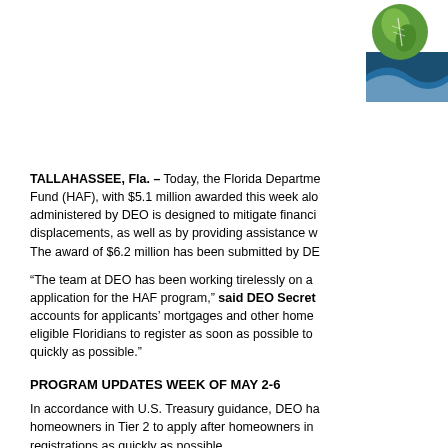[Figure (logo): Florida DEO logo with green leaf and blue wave/building graphic in top right corner]
TALLAHASSEE, Fla. – Today, the Florida Department Fund (HAF), with $5.1 million awarded this week alo administered by DEO is designed to mitigate financi displacements, as well as by providing assistance w The award of $6.2 million has been submitted by DE
“The team at DEO has been working tirelessly on a application for the HAF program,” said DEO Secret accounts for applicants’ mortgages and other home eligible Floridians to register as soon as possible to quickly as possible.”
PROGRAM UPDATES WEEK OF MAY 2-6
In accordance with U.S. Treasury guidance, DEO ha homeowners in Tier 2 to apply after homeowners in registrations as quickly as possible.
Applications